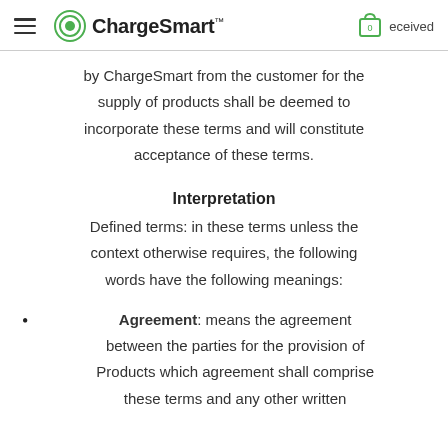ChargeSmart™ — navigation header with cart icon (0 items)
by ChargeSmart from the customer for the supply of products shall be deemed to incorporate these terms and will constitute acceptance of these terms.
Interpretation
Defined terms: in these terms unless the context otherwise requires, the following words have the following meanings:
Agreement: means the agreement between the parties for the provision of Products which agreement shall comprise these terms and any other written